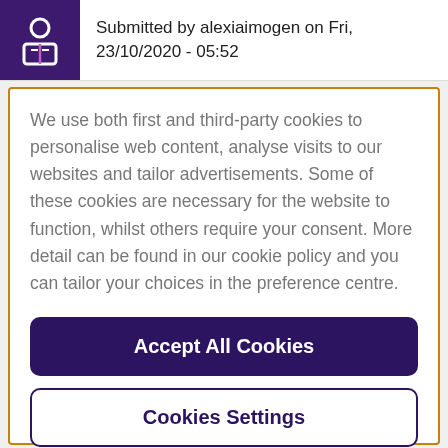Submitted by alexiaimogen on Fri, 23/10/2020 - 05:52
We use both first and third-party cookies to personalise web content, analyse visits to our websites and tailor advertisements. Some of these cookies are necessary for the website to function, whilst others require your consent. More detail can be found in our cookie policy and you can tailor your choices in the preference centre.
Accept All Cookies
Cookies Settings